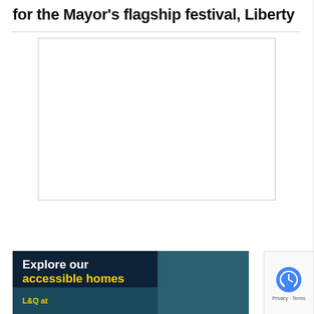for the Mayor's flagship festival, Liberty
[Figure (other): Empty white rectangle with border, likely a placeholder for an image]
[Figure (other): Advertisement banner with dark navy background. Text reads 'Explore our accessible homes' with 'accessible homes' in yellow. Bottom strip shows 'L&Q at' in yellow on teal background. Right side shows partial interior room image.]